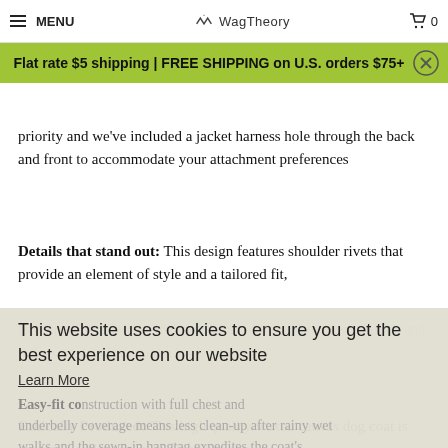MENU | WagTheory | 0
Flat rate $5 shipping | FREE SHIPPING on U.S. orders $75+
priority and we've included a jacket harness hole through the back and front to accommodate your attachment preferences
Details that stand out: This design features shoulder rivets that provide an element of style and a tailored fit, high-quality stainless steel snaps that will stand the test of time, and reflective detailing on the back
This website uses cookies to ensure you get the best experience on our website
Learn More
Easy-fit construction with full chest and underbelly coverage means less clean-up after rainy wet walks and the sewn-in hangtag expedites the coat's drying time
Got it!
Ethically Produced: This high quality waxed canvas dog coat is designed and sewn in Portland Oregon